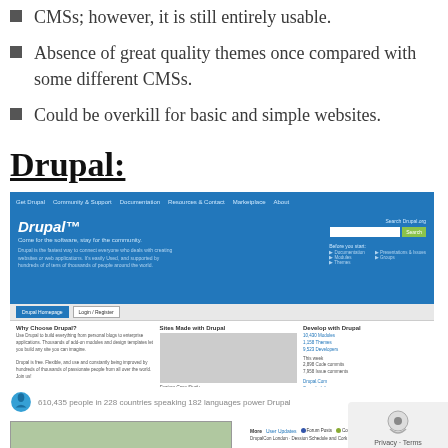CMSs; however, it is still entirely usable.
Absence of great quality themes once compared with some different CMSs.
Could be overkill for basic and simple websites.
Drupal:
[Figure (screenshot): Screenshot of the Drupal.org website homepage showing the Drupal logo, navigation menu, search bar, 'Why Choose Drupal?', 'Sites Made with Drupal', 'Develop with Drupal' sections, and Drupal Association News panel.]
610,435 people in 228 countries speaking 182 languages power Drupal